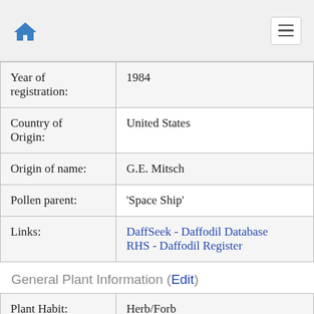Home / Menu
| Year of registration: | 1984 |
| Country of Origin: | United States |
| Origin of name: | G.E. Mitsch |
| Pollen parent: | 'Space Ship' |
| Links: | DaffSeek - Daffodil Database
RHS - Daffodil Register |
General Plant Information (Edit)
| Plant Habit: | Herb/Forb |